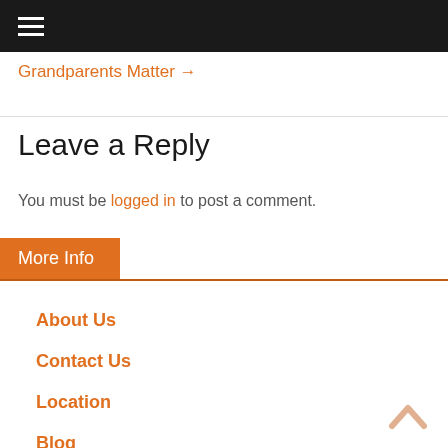≡
Grandparents Matter →
Leave a Reply
You must be logged in to post a comment.
More Info
About Us
Contact Us
Location
Blog
Calculator
Special Events